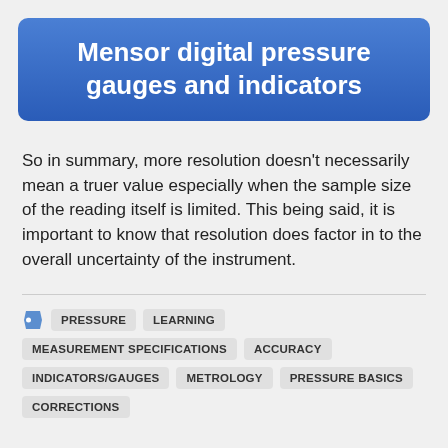Mensor digital pressure gauges and indicators
So in summary, more resolution doesn’t necessarily mean a truer value especially when the sample size of the reading itself is limited. This being said, it is important to know that resolution does factor in to the overall uncertainty of the instrument.
PRESSURE
LEARNING
MEASUREMENT SPECIFICATIONS
ACCURACY
INDICATORS/GAUGES
METROLOGY
PRESSURE BASICS
CORRECTIONS